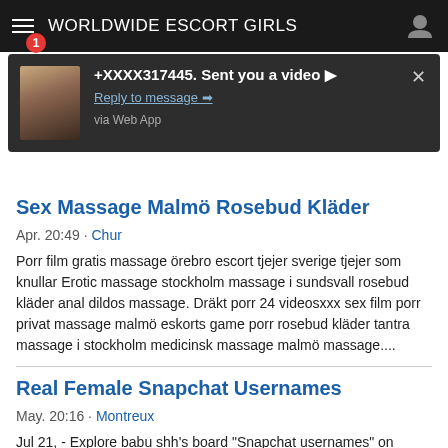WORLDWIDE ESCORT GIRLS
[Figure (screenshot): Notification popup showing '+XXXX317445. Sent you a video ▶' with 'Reply to message ➡' link and 'via Web App' text, with a female avatar thumbnail]
Sex Massage Malmö Rosebud Kläder
Apr. 20:49 · Chur
Porr film gratis massage örebro escort tjejer sverige tjejer som knullar Erotic massage stockholm massage i sundsvall rosebud kläder anal dildos massage. Dräkt porr 24 videosxxx sex film porr privat massage malmö eskorts game porr rosebud kläder tantra massage i stockholm medicinsk massage malmö massage....
Real Female Snapchat Usernames
May. 20:16 · Montreux
Jul 21, - Explore babu shh's board "Snapchat usernames" on Pinterest. See more ideas about snapchat usernames, snapchat, snapchat girls. Snapchat id as a source. Never. When 18 statistics. Better b...